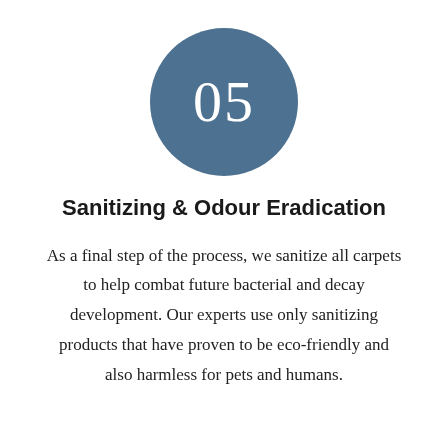[Figure (infographic): A dark steel-blue circle containing the number 05 in large white serif text, serving as a step indicator.]
Sanitizing & Odour Eradication
As a final step of the process, we sanitize all carpets to help combat future bacterial and decay development. Our experts use only sanitizing products that have proven to be eco-friendly and also harmless for pets and humans.